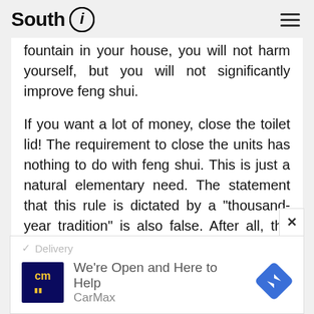South (i)
fountain in your house, you will not harm yourself, but you will not significantly improve feng shui.

If you want a lot of money, close the toilet lid! The requirement to close the units has nothing to do with feng shui. This is just a natural elementary need. The statement that this rule is dictated by a "thousand-year tradition" is also false. After all, the toilet appeared not so long ago, and only recently began to close the lid.
[Figure (screenshot): Advertisement banner for CarMax with logo, checkmark delivery label, navigation arrow icon, and text 'We're Open and Here to Help CarMax']